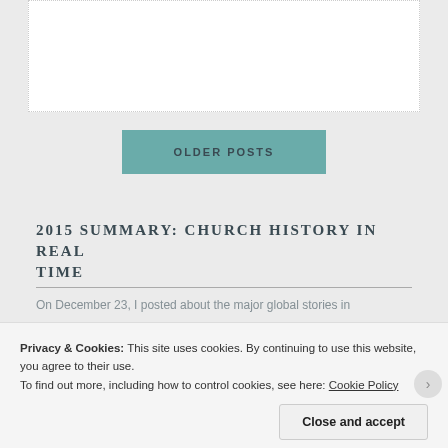[Figure (other): White card/box area with dotted border at top of page, partially visible]
OLDER POSTS
2015 SUMMARY: CHURCH HISTORY IN REAL TIME
On December 23, I posted about the major global stories in
Privacy & Cookies: This site uses cookies. By continuing to use this website, you agree to their use.
To find out more, including how to control cookies, see here: Cookie Policy
Close and accept